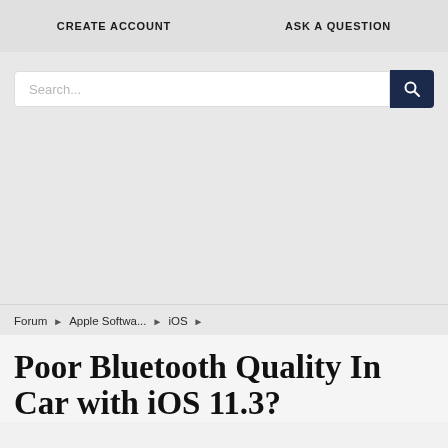CREATE ACCOUNT   ASK A QUESTION
Search...
Forum › Apple Softwa... › iOS ›
Poor Bluetooth Quality In Car with iOS 11.3?